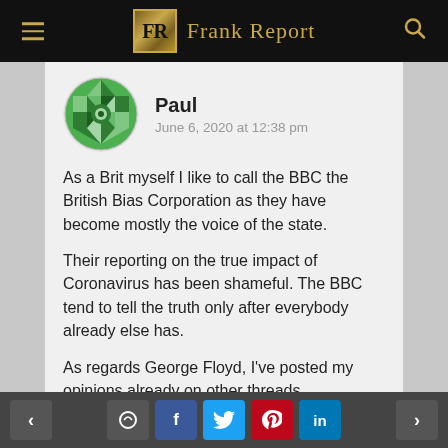FR Frank Report
[Figure (illustration): Green geometric circular avatar icon for user Paul]
Paul
June 6, 2020 at 12:38 pm
As a Brit myself I like to call the BBC the British Bias Corporation as they have become mostly the voice of the state.
Their reporting on the true impact of Coronavirus has been shameful. The BBC tend to tell the truth only after everybody already else has.
As regards George Floyd, I've posted my opinions already on other threads.
< [comment] [f] [twitter] [pinterest] [in] >